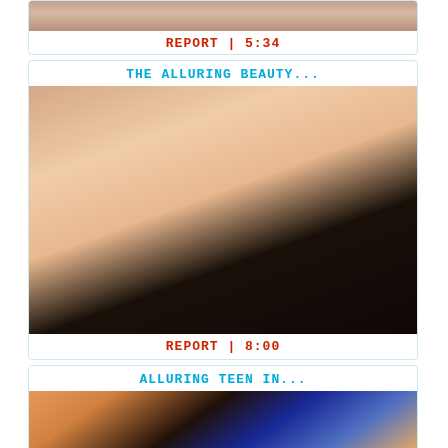[Figure (photo): Partial thumbnail image at top, cropped]
REPORT | 5:34
THE ALLURING BEAUTY...
[Figure (photo): Close-up photo of a dark-haired woman]
REPORT | 8:00
ALLURING TEEN IN...
[Figure (photo): Photo of people in a room with orange curtains]